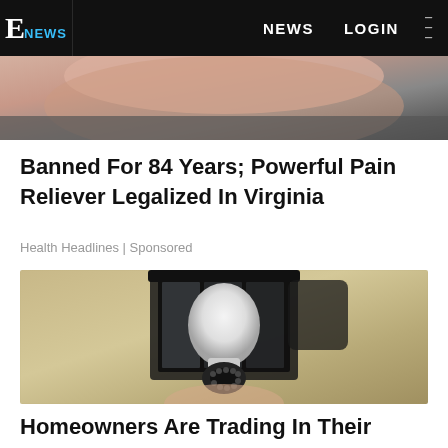E NEWS | NEWS | LOGIN
[Figure (photo): Cropped partial image at top of page, showing skin/hand detail in dark background]
Banned For 84 Years; Powerful Pain Reliever Legalized In Virginia
Health Headlines | Sponsored
[Figure (photo): A security camera shaped like a light bulb installed in an outdoor lantern-style fixture mounted on a textured stucco wall]
Homeowners Are Trading In Their Doorbell Cams